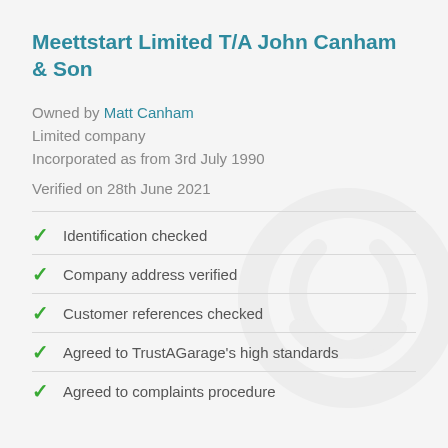Meettstart Limited T/A John Canham & Son
Owned by Matt Canham
Limited company
Incorporated as from 3rd July 1990
Verified on 28th June 2021
Identification checked
Company address verified
Customer references checked
Agreed to TrustAGarage's high standards
Agreed to complaints procedure